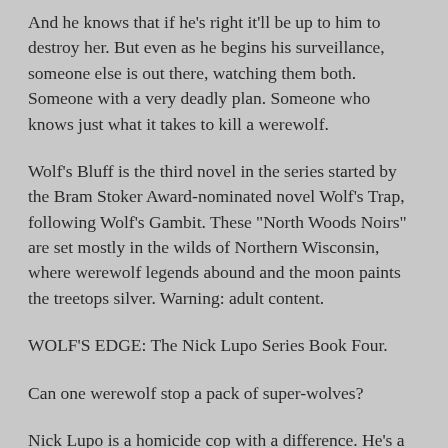And he knows that if he's right it'll be up to him to destroy her. But even as he begins his surveillance, someone else is out there, watching them both. Someone with a very deadly plan. Someone who knows just what it takes to kill a werewolf.
Wolf's Bluff is the third novel in the series started by the Bram Stoker Award-nominated novel Wolf's Trap, following Wolf's Gambit. These "North Woods Noirs" are set mostly in the wilds of Northern Wisconsin, where werewolf legends abound and the moon paints the treetops silver. Warning: adult content.
WOLF'S EDGE: The Nick Lupo Series Book Four.
Can one werewolf stop a pack of super-wolves?
Nick Lupo is a homicide cop with a difference. He's a werewolf. He's worked hard to control his condition, but it isn't easy to contain the beast inside him. It also means he has some very powerful enemies. Wolfpaw Security Services is a mercenary organization that wants Lupo dead. They want to